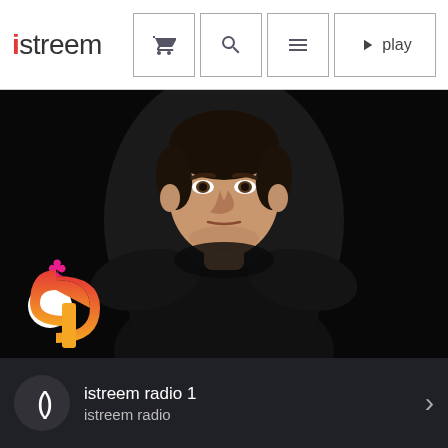[Figure (screenshot): istreem website header with logo on left and navigation buttons (cart, search, menu, play) on right]
[Figure (photo): DJ/performer in black t-shirt against black background, looking at camera with serious expression]
[Figure (logo): istreem stylized S logo with club suit symbol on top, red-white-orange gradient, overlaid on dark background]
istreem radio 1
istreem radio